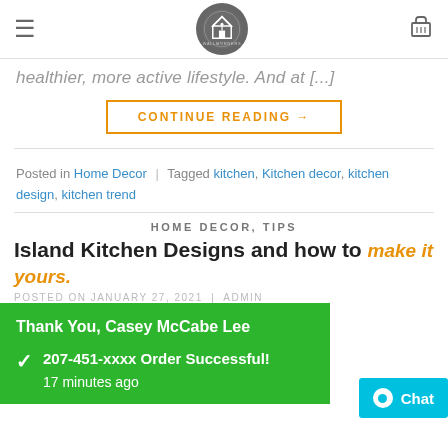Wallmongers logo, hamburger menu, cart
healthier, more active lifestyle. And at [...]
CONTINUE READING →
Posted in Home Decor | Tagged kitchen, Kitchen decor, kitchen design, kitchen trend
HOME DECOR, TIPS
Island Kitchen Designs and how to make it yours.
POSTED ON JANUARY 27, 2021 BY ADMIN
No luxurious Kitchen is incomplete without an island
Thank You, Casey McCabe Lee
207-451-xxxx Order Successful!
17 minutes ago